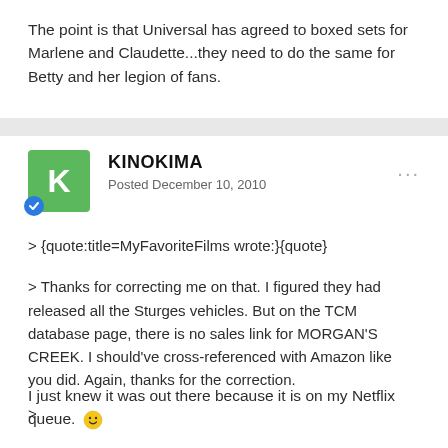The point is that Universal has agreed to boxed sets for Marlene and Claudette...they need to do the same for Betty and her legion of fans.
KINOKIMA
Posted December 10, 2010
> {quote:title=MyFavoriteFilms wrote:}{quote}

> Thanks for correcting me on that. I figured they had released all the Sturges vehicles. But on the TCM database page, there is no sales link for MORGAN'S CREEK. I should've cross-referenced with Amazon like you did. Again, thanks for the correction.

>
I just knew it was out there because it is on my Netflix queue. 🙂